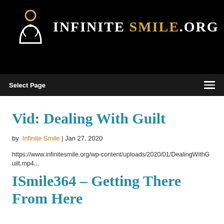[Figure (logo): Infinite Smile.org logo with circular icon and text on black background]
Select Page
Vid: Dealing With Guilt
by Infinite Smile | Jan 27, 2020
https://www.infinitesmile.org/wp-content/uploads/2020/01/DealingWithGuilt.mp4...
ISmile364 – Getting There From Here